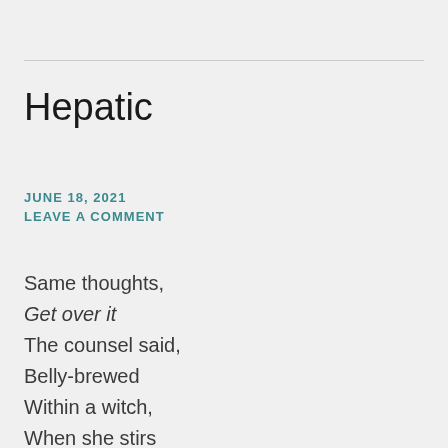Hepatic
JUNE 18, 2021
LEAVE A COMMENT
Same thoughts,
Get over it
The counsel said,
Belly-brewed
Within a witch,
When she stirs
I start to twitch,
When I twitch,